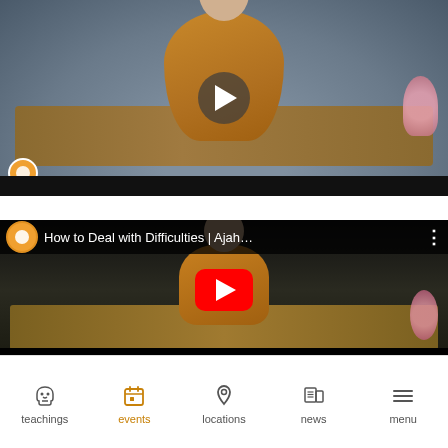[Figure (screenshot): Video thumbnail showing a Buddhist monk in saffron robes seated at a low wooden table with a microphone, lotus flowers visible on the right, a play button overlay in the center, and a small circular channel icon in the bottom left corner.]
[Figure (screenshot): YouTube video thumbnail titled 'How to Deal with Difficulties | Ajah...' showing a Buddhist monk in saffron robes with a YouTube red play button overlay. The video title bar shows a channel icon (orange circle with Buddha figure), the title text, and a three-dot menu icon.]
teachings   events   locations   news   menu